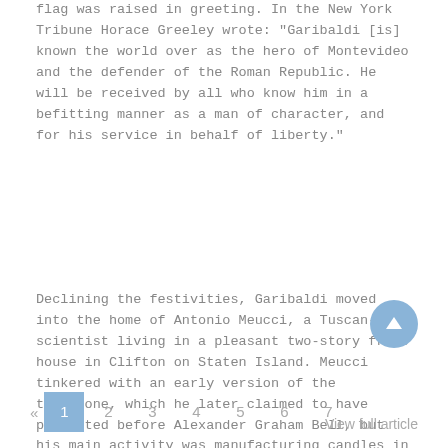flag was raised in greeting. In the New York Tribune Horace Greeley wrote: "Garibaldi [is] known the world over as the hero of Montevideo and the defender of the Roman Republic. He will be received by all who know him in a befitting manner as a man of character, and for his service in behalf of liberty."
Declining the festivities, Garibaldi moved into the home of Antonio Meucci, a Tuscan-born scientist living in a pleasant two-story frame house in Clifton on Staten Island. Meucci tinkered with an early version of the telephone, which he later claimed to have perfected before Alexander Graham Bell, but his main activity was manufacturing candles in the house and back yard. Garibaldi hunted, fished, and made candles for a living here. He joined the social life of the neighborhood, took the first three degrees of Freemasonry in a local lodge, and declared his intention to become an American citizen.
« 1 2 3 4 5 6 7 View full article